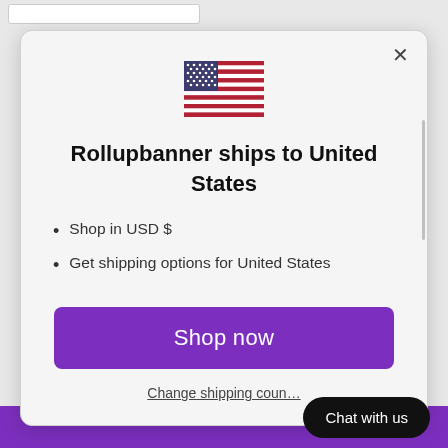[Figure (screenshot): US flag emoji centered above the modal title]
Rollupbanner ships to United States
Shop in USD $
Get shipping options for United States
Shop now
Change shipping country
Chat with us